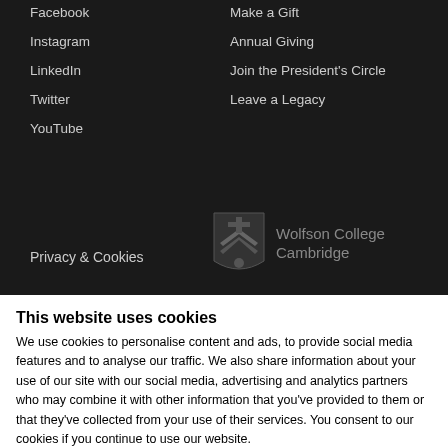Facebook
Instagram
LinkedIn
Twitter
YouTube
Make a Gift
Annual Giving
Join the President's Circle
Leave a Legacy
Privacy & Cookies
[Figure (logo): Wolfson College Cambridge shield logo with text 'Wolfson College Cambridge']
This website uses cookies
We use cookies to personalise content and ads, to provide social media features and to analyse our traffic. We also share information about your use of our site with our social media, advertising and analytics partners who may combine it with other information that you've provided to them or that they've collected from your use of their services. You consent to our cookies if you continue to use our website.
OK
Settings